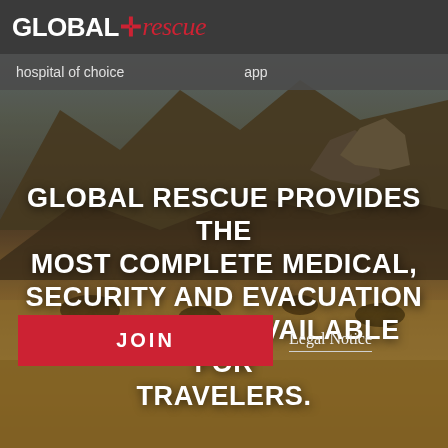[Figure (photo): Landscape background photo showing a semi-arid savanna with mountains in the background, rocky outcrops, sparse scrub vegetation, and golden-brown grassland in the foreground.]
GLOBAL + rescue
hospital of choice    app
GLOBAL RESCUE PROVIDES THE MOST COMPLETE MEDICAL, SECURITY AND EVACUATION MEMBERSHIP AVAILABLE FOR TRAVELERS.
JOIN
Legal Notice